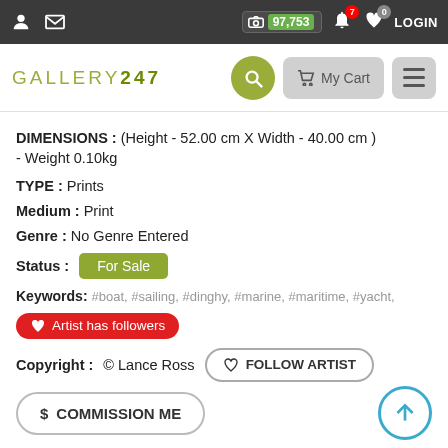97,753 | 7 | 0 | LOGIN
[Figure (logo): GALLERY247 logo with search button, My Cart button, and hamburger menu button]
DIMENSIONS : (Height - 52.00 cm X Width - 40.00 cm ) - Weight 0.10kg
TYPE : Prints
Medium : Print
Genre : No Genre Entered
Status : For Sale
Keywords: #boat, #sailing, #dinghy, #marine, #maritime, #yacht,
Artist has followers
Copyright : © Lance Ross  FOLLOW ARTIST
$ COMMISSION ME